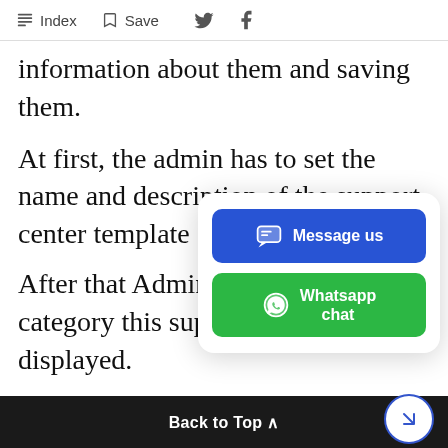Index  Save
information about them and saving them.
At first, the admin has to set the name and description of the support center template
After that Admin has category this suppor displayed.
[Figure (infographic): Floating chat widget with 'Message us' blue button and 'Whatsapp chat' green button]
After that, admin wil disable
Back to Top ^